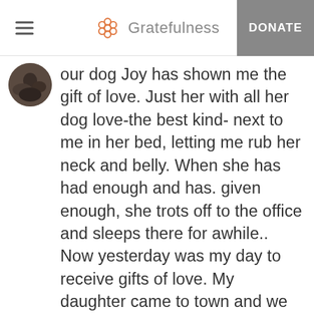Gratefulness  DONATE
[Figure (photo): Circular avatar photo of a person or animal, partially visible at top-left of content area]
our dog Joy has shown me the gift of love. Just her with all her dog love-the best kind- next to me in her bed, letting me rub her neck and belly. When she has had enough and has. given enough, she trots off to the office and sleeps there for awhile.. Now yesterday was my day to receive gifts of love. My daughter came to town and we went hiking. There is a trail I just love to hike,